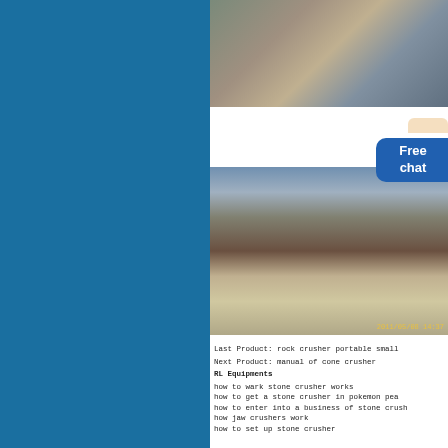[Figure (photo): Industrial equipment photo showing large cylindrical tanks and conveyor structures at a mining or quarrying site, aerial/elevated view]
[Figure (photo): Stone crusher plant photo showing crushing machinery, scaffolding, conveyor belts, and a pile of crushed stone/gravel, with a Free chat badge overlay]
Last Product: rock crusher portable small
Next Product: manual of cone crusher
RL Equipments
how to wark stone crusher works
how to get a stone crusher in pokemon pea
how to enter into a business of stone crush
how jaw crushers work
how to set up stone crusher